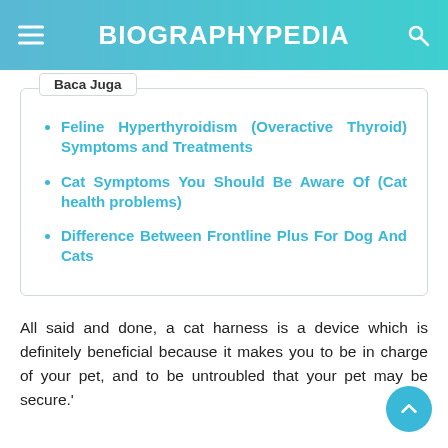BIOGRAPHYPEDIA
Baca Juga
Feline Hyperthyroidism (Overactive Thyroid) Symptoms and Treatments
Cat Symptoms You Should Be Aware Of (Cat health problems)
Difference Between Frontline Plus For Dog And Cats
All said and done, a cat harness is a device which is definitely beneficial because it makes you to be in charge of your pet, and to be untroubled that your pet may be secure.'